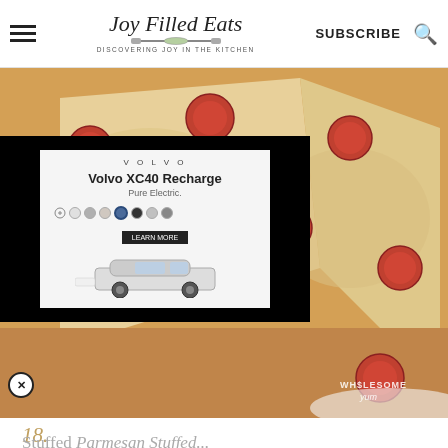Joy Filled Eats — DISCOVERING JOY IN THE KITCHEN | SUBSCRIBE
[Figure (photo): Close-up of pepperoni pizza slices on a white plate, with a Volvo XC40 Recharge advertisement overlay in the center]
18.
Stuffed Parmesan Stuffed...